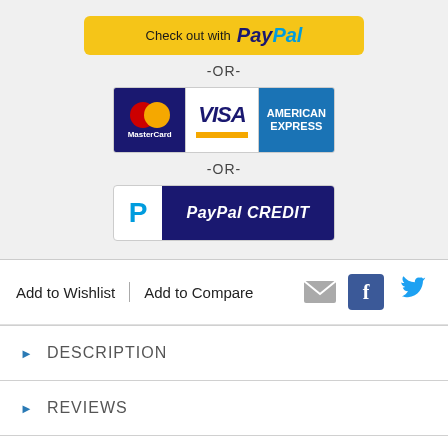[Figure (logo): PayPal checkout button with yellow background]
-OR-
[Figure (logo): Credit card logos: MasterCard, VISA, American Express]
-OR-
[Figure (logo): PayPal CREDIT button with dark blue background]
Add to Wishlist
Add to Compare
[Figure (other): Email, Facebook, and Twitter social icons]
DESCRIPTION
REVIEWS
HAIR COLOR CHART
HAIR LENGTH CHART